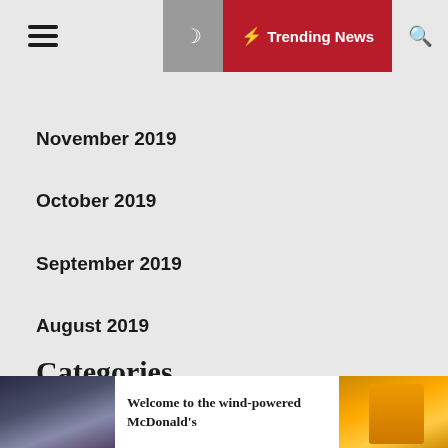Trending News
November 2019
October 2019
September 2019
August 2019
Categories
Advertisement
[Figure (photo): Thumbnail photo - urban street scene with purple-tinted lighting]
Welcome to the wind-powered McDonald's
[Figure (photo): Thumbnail photo - delivery person in orange jacket on city street]
Jus… ne…